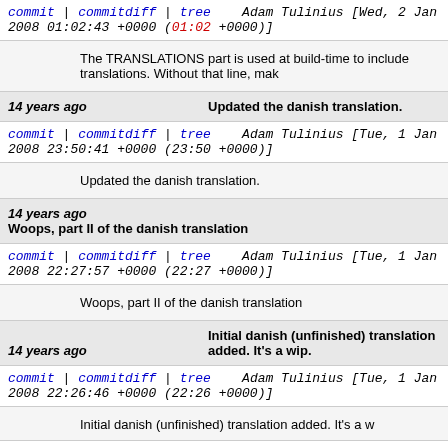commit | commitdiff | tree    Adam Tulinius [Wed, 2 Jan 2008 01:02:43 +0000 (01:02 +0000)]
The TRANSLATIONS part is used at build-time to include translations. Without that line, mak
14 years ago    Updated the danish translation.
commit | commitdiff | tree    Adam Tulinius [Tue, 1 Jan 2008 23:50:41 +0000 (23:50 +0000)]
Updated the danish translation.
14 years ago    Woops, part II of the danish translation
commit | commitdiff | tree    Adam Tulinius [Tue, 1 Jan 2008 22:27:57 +0000 (22:27 +0000)]
Woops, part II of the danish translation
14 years ago    Initial danish (unfinished) translation added. It's a wip.
commit | commitdiff | tree    Adam Tulinius [Tue, 1 Jan 2008 22:26:46 +0000 (22:26 +0000)]
Initial danish (unfinished) translation added. It's a w